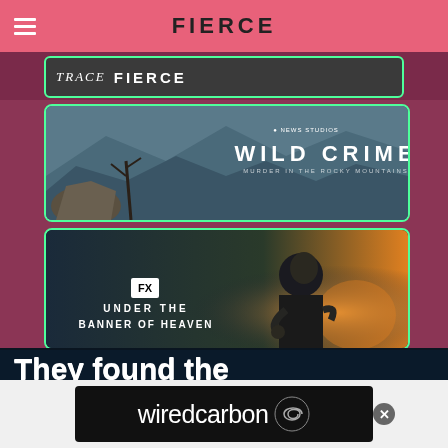FIERCE
[Figure (screenshot): Wild Crime – ABC News Studios documentary show card with mountain landscape and green border]
[Figure (screenshot): Under the Banner of Heaven – FX show card with man bowing head against sunset backdrop and green border]
They found the body where?!
[Figure (logo): wiredcarbon logo with spiral graphic, white text on dark background, with X close button]